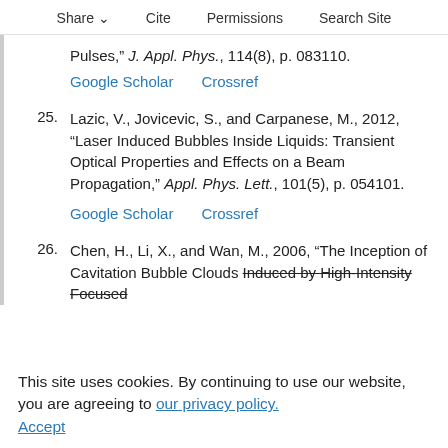Share  Cite  Permissions  Search Site
Pulses,” J. Appl. Phys., 114(8), p. 083110.
Google Scholar    Crossref
25. Lazic, V., Jovicevic, S., and Carpanese, M., 2012, “Laser Induced Bubbles Inside Liquids: Transient Optical Properties and Effects on a Beam Propagation,” Appl. Phys. Lett., 101(5), p. 054101.
Google Scholar    Crossref
26. Chen, H., Li, X., and Wan, M., 2006, “The Inception of Cavitation Bubble Clouds Induced by High-Intensity Focused ...
This site uses cookies. By continuing to use our website, you are agreeing to our privacy policy. Accept